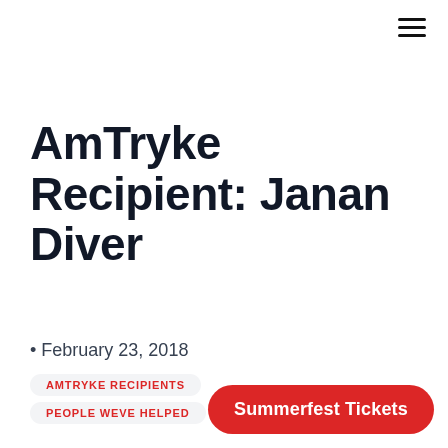☰
AmTryke Recipient: Janan Diver
• February 23, 2018
AMTRYKE RECIPIENTS
PEOPLE WEVE HELPED
Janan Diver recently atte… Monday Lunches to rec… AmTryke. She was joined by her sister, Leshay
Summerfest Tickets